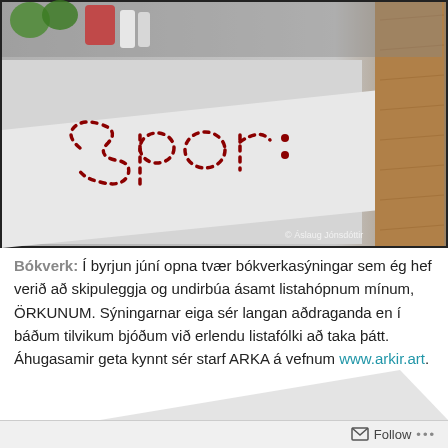[Figure (photo): A photograph showing a white wall or board with the word 'spor' written in dotted/dashed red stitch-like letters. To the right is a wooden board. Some colorful objects are visible at the top left. A watermark reads '© Áslaug Jónsdóttir'.]
Bókverk: Í byrjun júní opna tvær bókverkasýningar sem ég hef verið að skipuleggja og undirbúa ásamt listahópnum mínum, ÖRKUNUM. Sýningarnar eiga sér langan aðdraganda en í báðum tilvikum bjóðum við erlendu listafólki að taka þátt. Áhugasamir geta kynnt sér starf ARKA á vefnum www.arkir.art.
Follow ...